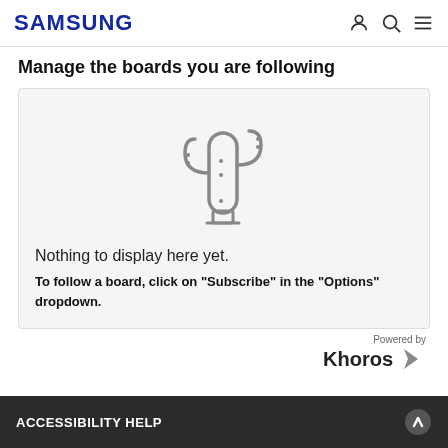SAMSUNG
Manage the boards you are following
[Figure (illustration): Cactus icon illustration in gray outline style]
Nothing to display here yet.
To follow a board, click on "Subscribe" in the "Options" dropdown.
Powered by Khoros
ACCESSIBILITY HELP